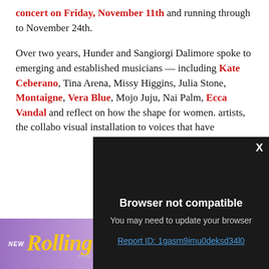concert on Friday, November 11th and running through to November 24th.
Over two years, Hunder and Sangiorgi Dalimore spoke to emerging and established musicians — including Kate Ceberano, Tina Arena, Missy Higgins, Julia Stone, Montaigne, Vera Blue, Mojo Juju, Nai Palm, Ecca Vandal and... reflect on how the... shape for women.... artists, the collabo... visual installation... to voices that have...
[Figure (screenshot): Browser not compatible modal overlay on dark background with close X button, message 'Browser not compatible', subtext 'You may need to update your browser', and link 'Report ID: 1gasm9imu0deksd34l0']
[Figure (screenshot): Rolling Stone magazine advertisement banner with purple gradient background, 'NEW' text, Rolling Stone logo in yellow italic font, 'ON SALE SEP 5' text, and red 'SUBSCRIBE' button]